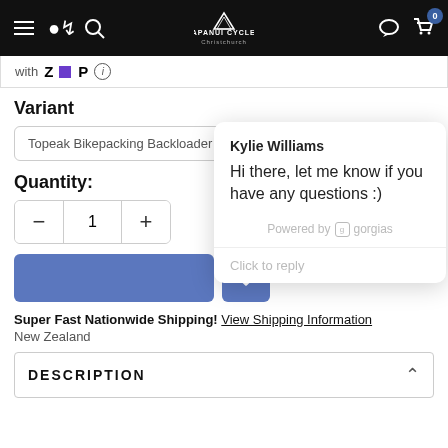[Figure (screenshot): Papanui Cycles e-commerce website navigation bar with hamburger menu, search icon, logo, chat icon, and cart with badge showing 0]
with ZIP (i)
Variant
Topeak Bikepacking Backloader 10L Black Seatpost mount
Quantity:
- 1 +
Super Fast Nationwide Shipping! View Shipping Information
New Zealand
Kylie Williams
Hi there, let me know if you have any questions :)
Powered by gorgias
Click to reply
DESCRIPTION